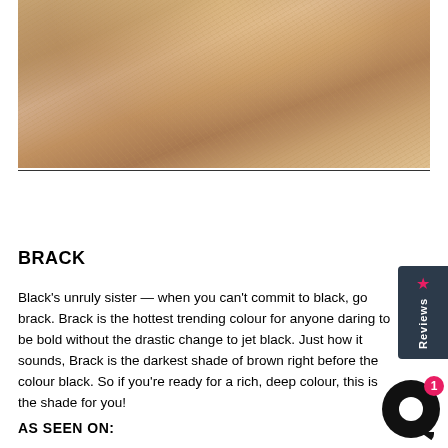[Figure (photo): Close-up portrait photo of a woman with long brown highlighted hair, soft makeup, glowing skin, photographed against a background with bokeh lights]
BRACK
Black's unruly sister — when you can't commit to black, go brack. Brack is the hottest trending colour for anyone daring to be bold without the drastic change to jet black. Just how it sounds, Brack is the darkest shade of brown right before the colour black. So if you're ready for a rich, deep colour, this is the shade for you!
AS SEEN ON: